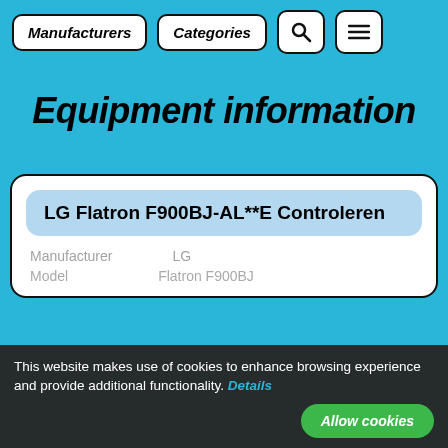Manufacturers | Categories | [Search] | [Menu]
Equipment information
LG Flatron F900BJ-AL**E Controleren
Manufacturer    LG
Model           Flatron F900BJ
This website makes use of cookies to enhance browsing experience and provide additional functionality. Details
Allow cookies